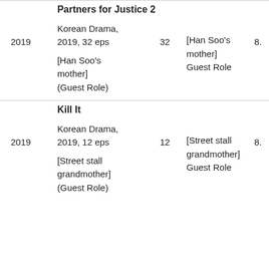| Year | Title / Info / Role | Eps | Role (short) | Score |
| --- | --- | --- | --- | --- |
| 2019 | Partners for Justice 2
Korean Drama, 2019, 32 eps
[Han Soo's mother] (Guest Role) | 32 | [Han Soo's mother] Guest Role | 8. |
| 2019 | Kill It
Korean Drama, 2019, 12 eps
[Street stall grandmother] (Guest Role) | 12 | [Street stall grandmother] Guest Role | 8. |